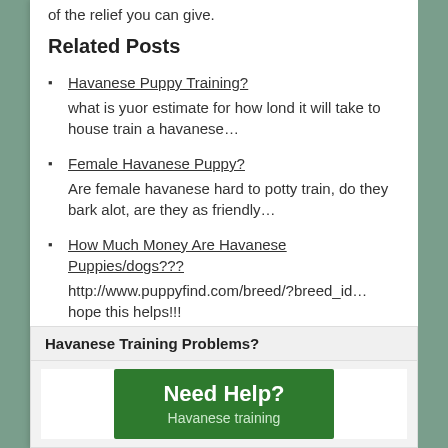of the relief you can give.
Related Posts
Havanese Puppy Training?
what is yuor estimate for how lond it will take to house train a havanese…
Female Havanese Puppy?
Are female havanese hard to potty train, do they bark alot, are they as friendly…
How Much Money Are Havanese Puppies/dogs???
http://www.puppyfind.com/breed/?breed_id… hope this helps!!!
Havanese Training Problems?
[Figure (infographic): Green banner reading 'Need Help? Havanese training']